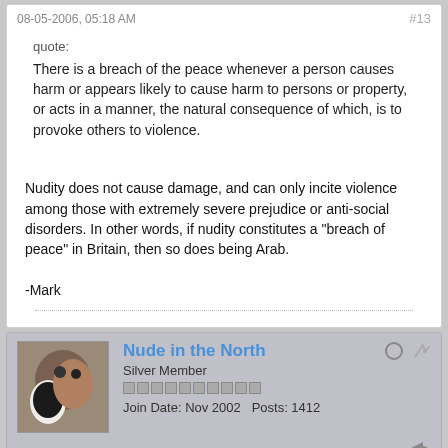08-05-2006, 05:18 AM  #13
quote:
There is a breach of the peace whenever a person causes harm or appears likely to cause harm to persons or property, or acts in a manner, the natural consequence of which, is to provoke others to violence.
Nudity does not cause damage, and can only incite violence among those with extremely severe prejudice or anti-social disorders. In other words, if nudity constitutes a "breach of peace" in Britain, then so does being Arab.

-Mark
Nude in the North
Silver Member
Join Date: Nov 2002  Posts: 1412
08-05-2006, 06:53 AM  #14